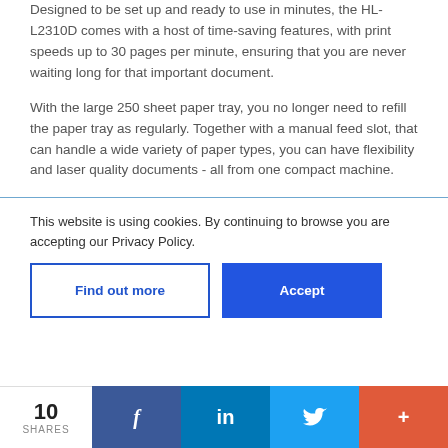Designed to be set up and ready to use in minutes, the HL-L2310D comes with a host of time-saving features, with print speeds up to 30 pages per minute, ensuring that you are never waiting long for that important document.
With the large 250 sheet paper tray, you no longer need to refill the paper tray as regularly. Together with a manual feed slot, that can handle a wide variety of paper types, you can have flexibility and laser quality documents - all from one compact machine.
This website is using cookies. By continuing to browse you are accepting our Privacy Policy.
Find out more
Accept
10 SHARES